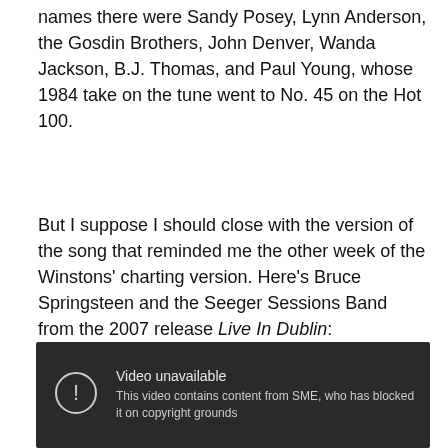names there were Sandy Posey, Lynn Anderson, the Gosdin Brothers, John Denver, Wanda Jackson, B.J. Thomas, and Paul Young, whose 1984 take on the tune went to No. 45 on the Hot 100.
But I suppose I should close with the version of the song that reminded me the other week of the Winstons' charting version. Here's Bruce Springsteen and the Seeger Sessions Band from the 2007 release Live In Dublin:
[Figure (screenshot): YouTube video player showing 'Video unavailable' message with text: 'This video contains content from SME, who has blocked it on copyright grounds']